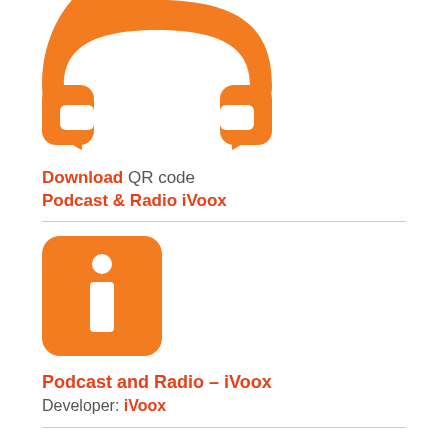[Figure (logo): iVoox app logo — orange shield/headphone icon, partially cropped at top]
Download QR code
Podcast & Radio iVoox
[Figure (logo): iVoox app icon — orange square with white stylized 'i' character]
Podcast and Radio – iVoox
Developer: iVoox
It is available for iOS and Android and we simply have to download it on our mobile phone and go to the category of audiobooks and podcasts where we can find all the available titles. We can also